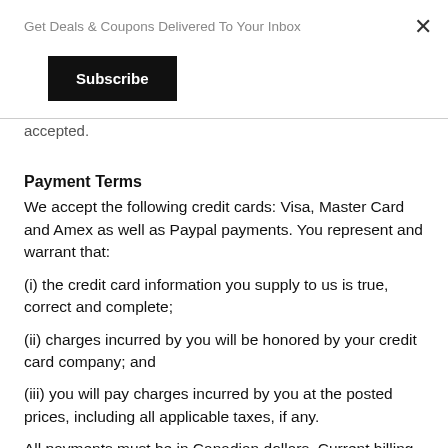Get Deals & Coupons Delivered To Your Inbox
Subscribe
accepted.
Payment Terms
We accept the following credit cards: Visa, Master Card and Amex as well as Paypal payments. You represent and warrant that:
(i) the credit card information you supply to us is true, correct and complete;
(ii) charges incurred by you will be honored by your credit card company; and
(iii) you will pay charges incurred by you at the posted prices, including all applicable taxes, if any.
All payments must be in Canadian dollars. Current billing address and phone information must be included with every order. You agree to pay interest